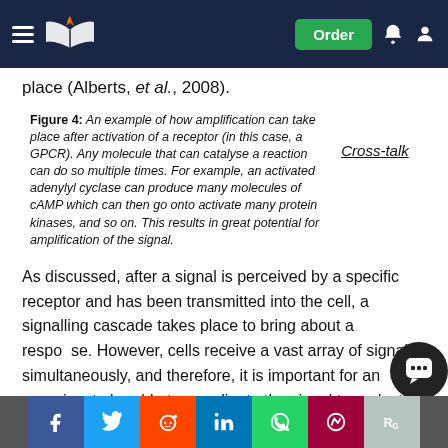Navigation header with logo, Order button, bell and user icons
place (Alberts, et al., 2008).
Figure 4: An example of how amplification can take place after activation of a receptor (in this case, a GPCR). Any molecule that can catalyse a reaction can do so multiple times. For example, an activated adenylyl cyclase can produce many molecules of cAMP which can then go onto activate many protein kinases, and so on. This results in great potential for amplification of the signal.
Cross-talk
As discussed, after a signal is perceived by a specific receptor and has been transmitted into the cell, a signalling cascade takes place to bring about a response. However, cells receive a vast array of signals simultaneously, and therefore, it is important for an organism to be able to coordinate the signal transduction pathways to influence all like (Hancock, ...